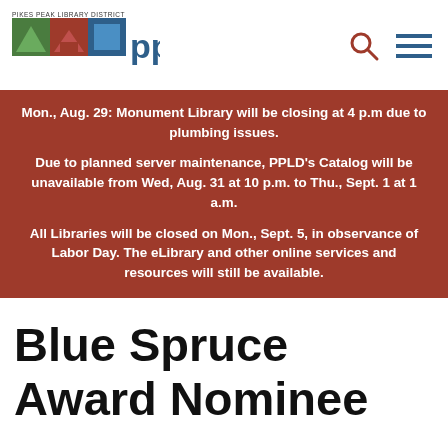PIKES PEAK LIBRARY DISTRICT ppld
Mon., Aug. 29: Monument Library will be closing at 4 p.m due to plumbing issues.

Due to planned server maintenance, PPLD’s Catalog will be unavailable from Wed, Aug. 31 at 10 p.m. to Thu., Sept. 1 at 1 a.m.

All Libraries will be closed on Mon., Sept. 5, in observance of Labor Day. The eLibrary and other online services and resources will still be available.
Blue Spruce Award Nominee